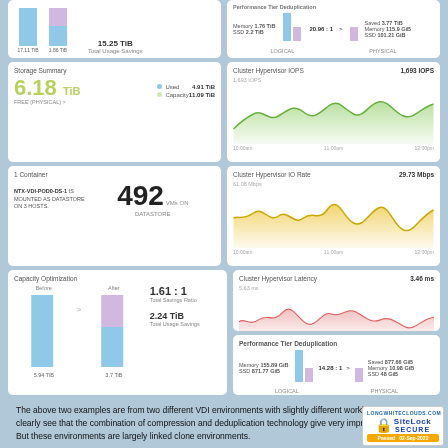[Figure (bar-chart): Partial view of bar chart showing before/after with 15.25 TiB Total Usage Savings]
[Figure (infographic): Deduplication stats: Memory 1.76 TiB, SSD 2.2 TiB, 20.96:1 ratio, Saved 3.77 TiB, Memory 115.9 GiB, SSD 101.21 GiB, LOGICAL vs PHYSICAL]
[Figure (infographic): 6.18 TiB FREE (PHYSICAL), Used 4.91 TiB, Capacity 11.09 TiB]
[Figure (area-chart): 1,693 IOPS, time series from 10:00am to 12:00pm]
[Figure (infographic): NTX-VDI-POD0-DS-1 IS MOUNTED AS DATASTORE ON 3 HOSTS. 492 VMs ON DATASTORE]
[Figure (area-chart): 29.73 Mbps, time series from 10:00am to 12:00pm]
[Figure (bar-chart): Before: 5.94 TiB, After: 3.7 TiB, 1.61:1 Total Savings Ratio, 2.24 TiB Total Usage Savings]
[Figure (area-chart): 3.46 ms, time series from 10:00am to 12:00pm]
[Figure (infographic): Memory 155.89 GiB, SSD 871.77 GiB, 14.28:1 ratio, Saved 877.66 GiB, Memory 10.98 GiB, SSD 48 GiB, LOGICAL vs PHYSICAL]
The above two examples are from two different VDI environments with slightly different workloads. But you can clearly see that the combination of compression and deduplication technology give very impressive savings. But these environments are largely linked clone environments.